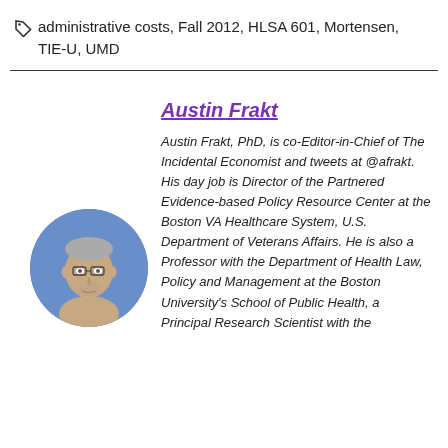administrative costs, Fall 2012, HLSA 601, Mortensen, TIE-U, UMD
[Figure (photo): Circular portrait photo of Austin Frakt, a middle-aged man with glasses and short gray hair against a blue background]
Austin Frakt
Austin Frakt, PhD, is co-Editor-in-Chief of The Incidental Economist and tweets at @afrakt. His day job is Director of the Partnered Evidence-based Policy Resource Center at the Boston VA Healthcare System, U.S. Department of Veterans Affairs. He is also a Professor with the Department of Health Law, Policy and Management at the Boston University's School of Public Health, a Principal Research Scientist with the